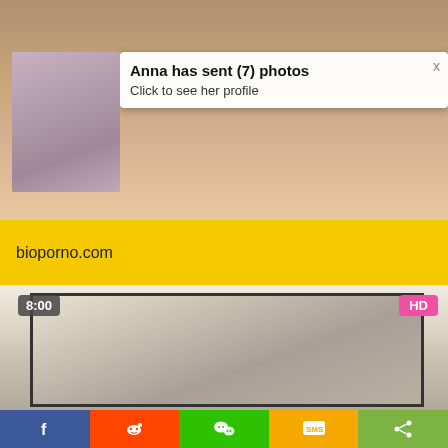[Figure (screenshot): Adult content website screenshot showing blurred/skin-toned background image at top]
Anna has sent (7) photos
Click to see her profile
bioporno.com
[Figure (screenshot): Video thumbnail showing 8:00 duration badge and HD badge, with bedroom scene]
[Figure (infographic): Social share bar with Facebook, Reddit, WeChat, SMS, and Share buttons]